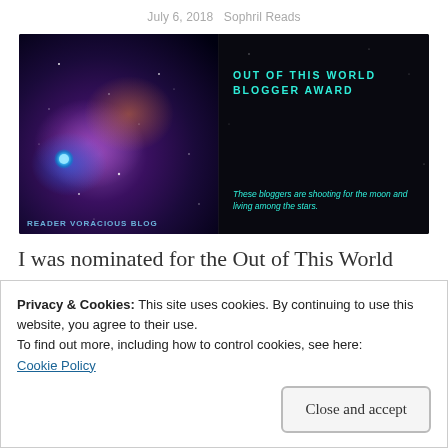July 6, 2018   Sophril Reads
[Figure (illustration): Out of This World Blogger Award image: left half shows a galaxy/nebula photo with blue star and 'READER VORACIOUS BLOG' text; right half on black background shows award title and description in teal and white text.]
I was nominated for the Out of This World
Privacy & Cookies: This site uses cookies. By continuing to use this website, you agree to their use.
To find out more, including how to control cookies, see here:
Cookie Policy
Close and accept